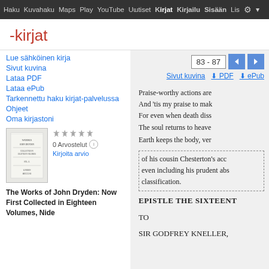Haku Kuvahaku Maps Play YouTube Uutiset Kirjat Kirjailu Sisään Lis
-kirjat
Lue sähköinen kirja
Sivut kuvina
Lataa PDF
Lataa ePub
Tarkennettu haku kirjat-palvelussa
Ohjeet
Oma kirjastoni
[Figure (other): Book cover thumbnail for The Works of John Dryden]
0 Arvostelut
Kirjoita arvio
The Works of John Dryden: Now First Collected in Eighteen Volumes, Nide
83 - 87
Sivut kuvina  PDF  ePub
Praise-worthy actions are
And 'tis my praise to mak
For even when death diss
The soul returns to heave
Earth keeps the body, ver
of his cousin Chesterton's acc
even including his prudent abs
classification.
EPISTLE THE SIXTEENT
TO
SIR GODFREY KNELLER,